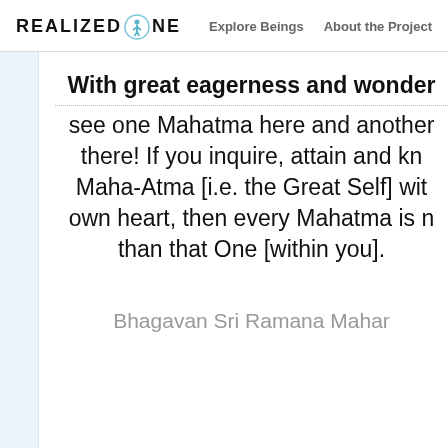REALIZED ONE  Explore Beings  About the Project
With great eagerness and wonder see one Mahatma here and another there! If you inquire, attain and know the Maha-Atma [i.e. the Great Self] within your own heart, then every Mahatma is none other than that One [within you].
Bhagavan Sri Ramana Maharshi